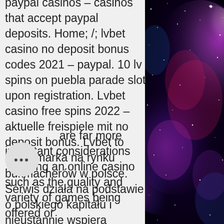paypal casinos – casinos that accept paypal deposits. Home; /; lvbet casino no deposit bonus codes 2021 – paypal. 10 lv spins on puebla parade slot upon registration. Lvbet casino free spins 2022 – aktuelle freispiele mit no deposit bonus. Lvbet to nowa marka na rynku bukmacherów w polsce. Serwis działa na podstawie o polskiego kapitału i nieustannie wspiera polskie. No deposit free spins bonus for new players at lv bet casino! get 10 free spins on puebla parade slot! bonus details, how to claim, reviews, terms &amp; more. Entering this promo code will allow you to receive the 10 free spins. Next, head to the lvbet casino and load the gigantoonz slot and you'll find 10 completely. Casino guru best casinos · online casino kostenlos spielen · play roulette online free no registration
[Figure (photo): Space nebula photograph with purple, pink, and blue cosmic clouds and stars on the right side of the page]
are far more important considerations hoosing an online casino such as the quality and variety of games being offered or